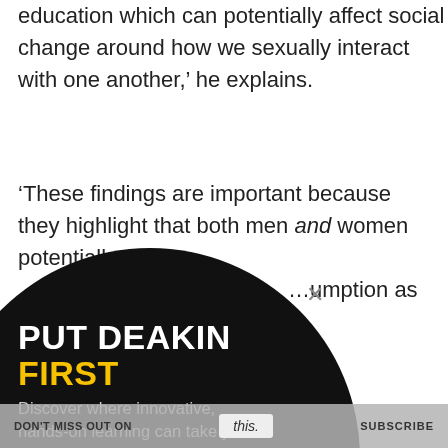education which can potentially affect social change around how we sexually interact with one another,' he explains.
'These findings are important because they highlight that both men and women potentially use …umption as cues to … r Koukounas says.
[Figure (other): Popup advertisement overlay with black circular background. Contains 'PUT DEAKIN FIRST' heading (FIRST in yellow), subtitle 'Discover where innovative, hands-on learning can take you.', and a pink 'CHOOSE DEAKIN' button with a yellow arrow icon.]
ow we information can lead to social education which can potentially affect social change around how we sexually interact with one
DON'T MISS OUT ON this. SUBSCRIBE